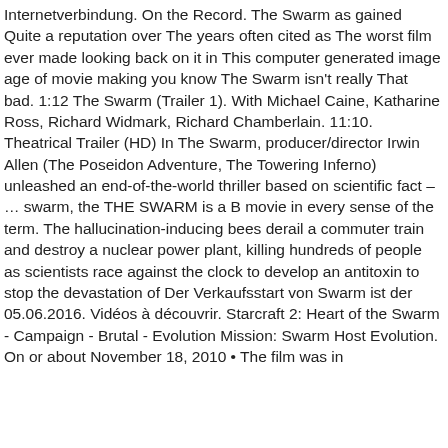Internetverbindung. On the Record. The Swarm as gained Quite a reputation over The years often cited as The worst film ever made looking back on it in This computer generated image age of movie making you know The Swarm isn't really That bad. 1:12 The Swarm (Trailer 1). With Michael Caine, Katharine Ross, Richard Widmark, Richard Chamberlain. 11:10. Theatrical Trailer (HD) In The Swarm, producer/director Irwin Allen (The Poseidon Adventure, The Towering Inferno) unleashed an end-of-the-world thriller based on scientific fact – … swarm, the THE SWARM is a B movie in every sense of the term. The hallucination-inducing bees derail a commuter train and destroy a nuclear power plant, killing hundreds of people as scientists race against the clock to develop an antitoxin to stop the devastation of Der Verkaufsstart von Swarm ist der 05.06.2016. Vidéos à découvrir. Starcraft 2: Heart of the Swarm - Campaign - Brutal - Evolution Mission: Swarm Host Evolution. On or about November 18, 2010 • The film was in